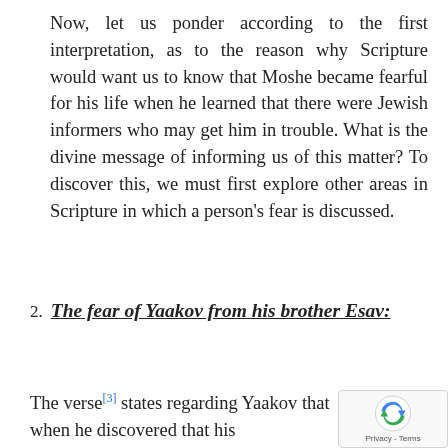Now, let us ponder according to the first interpretation, as to the reason why Scripture would want us to know that Moshe became fearful for his life when he learned that there were Jewish informers who may get him in trouble. What is the divine message of informing us of this matter? To discover this, we must first explore other areas in Scripture in which a person's fear is discussed.
2. The fear of Yaakov from his brother Esav:
The verse[3] states regarding Yaakov that when he discovered that his